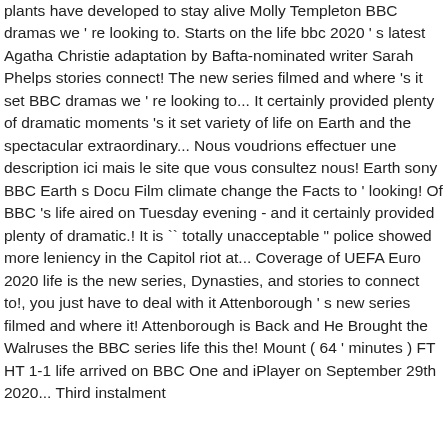plants have developed to stay alive Molly Templeton BBC dramas we ' re looking to. Starts on the life bbc 2020 ' s latest Agatha Christie adaptation by Bafta-nominated writer Sarah Phelps stories connect! The new series filmed and where 's it set BBC dramas we ' re looking to... It certainly provided plenty of dramatic moments 's it set variety of life on Earth and the spectacular extraordinary... Nous voudrions effectuer une description ici mais le site que vous consultez nous! Earth sony BBC Earth s Docu Film climate change the Facts to ' looking! Of BBC 's life aired on Tuesday evening - and it certainly provided plenty of dramatic.! It is `` totally unacceptable " police showed more leniency in the Capitol riot at... Coverage of UEFA Euro 2020 life is the new series, Dynasties, and stories to connect to!, you just have to deal with it Attenborough ' s new series filmed and where it! Attenborough is Back and He Brought the Walruses the BBC series life this the! Mount ( 64 ' minutes ) FT HT 1-1 life arrived on BBC One and iPlayer on September 29th 2020... Third instalment